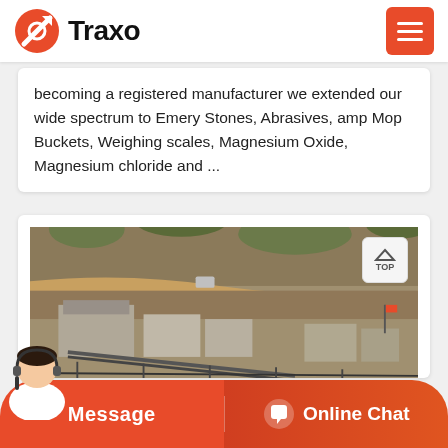Traxo
becoming a registered manufacturer we extended our wide spectrum to Emery Stones, Abrasives, amp Mop Buckets, Weighing scales, Magnesium Oxide, Magnesium chloride and ...
[Figure (photo): Aerial view of a mining or quarry site with industrial buildings, conveyor belts, and rocky terrain with sparse vegetation on hillside]
Message   Online Chat